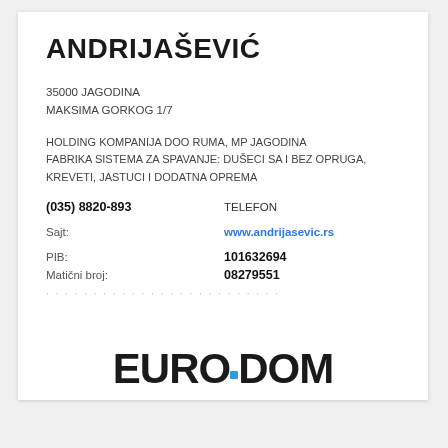ANDRIJAŠEVIĆ
35000 JAGODINA
MAKSIMA GORKOG 1/7
HOLDING KOMPANIJA DOO RUMA, MP JAGODINA
FABRIKA SISTEMA ZA SPAVANJE: DUŠECI SA I BEZ OPRUGA, KREVETI, JASTUCI I DODATNA OPREMA
(035) 8820-893    TELEFON
Sajt:    www.andrijasevic.rs
PIB:    101632694
Matični broj:    08279551
[Figure (logo): EURODOM logo with blue square dot between EURO and DOM text]